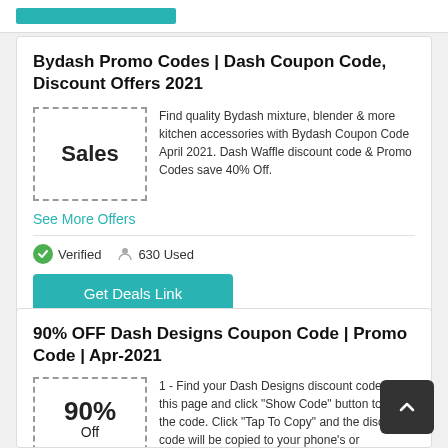[Figure (other): Teal/turquoise button bar at top]
Bydash Promo Codes | Dash Coupon Code, Discount Offers 2021
[Figure (other): Dashed border box with text 'Sales']
Find quality Bydash mixture, blender & more kitchen accessories with Bydash Coupon Code April 2021. Dash Waffle discount code & Promo Codes save 40% Off.
See More Offers
Verified   630 Used
Get Deals Link
90% OFF Dash Designs Coupon Code | Promo Code | Apr-2021
[Figure (other): Dashed border box with '90% Off']
1 - Find your Dash Designs discount codes on this page and click "Show Code" button to view the code. Click "Tap To Copy" and the discount code will be copied to your phone's or computer's clipboard. 2 - Go to https://dashdesigns.com then select all the items you